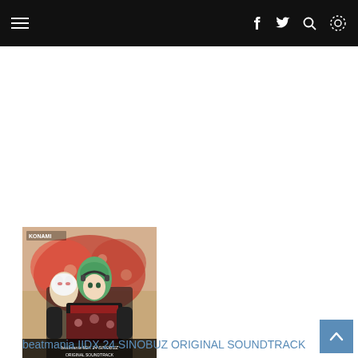Navigation bar with hamburger menu, Facebook, Twitter, Search, and settings icons
[Figure (illustration): beatmania IIDX 24 SINOBUZ ORIGINAL SOUNDTRACK album cover art featuring anime-style characters in Japanese traditional clothing with green hair, holding headphones, KONAMI logo top left]
beatmania IIDX 24 SINOBUZ ORIGINAL SOUNDTRACK